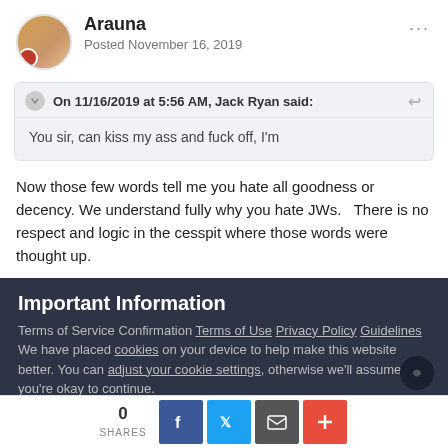Arauna
Posted November 16, 2019
On 11/16/2019 at 5:56 AM, Jack Ryan said:
You sir, can kiss my ass and fuck off, I'm
Now those few words tell me you hate all goodness or decency. We understand fully why you hate JWs.  There is no respect and logic in the cesspit where those words were thought up.
Important Information
Terms of Service Confirmation Terms of Use Privacy Policy Guidelines We have placed cookies on your device to help make this website better. You can adjust your cookie settings, otherwise we'll assume you're okay to continue.
0 SHARES